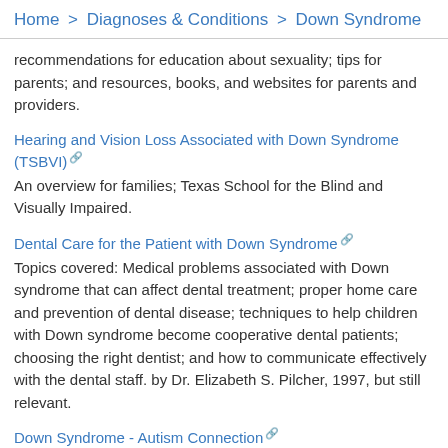Home > Diagnoses & Conditions > Down Syndrome
recommendations for education about sexuality; tips for parents; and resources, books, and websites for parents and providers.
Hearing and Vision Loss Associated with Down Syndrome (TSBVI) — An overview for families; Texas School for the Blind and Visually Impaired.
Dental Care for the Patient with Down Syndrome — Topics covered: Medical problems associated with Down syndrome that can affect dental treatment; proper home care and prevention of dental disease; techniques to help children with Down syndrome become cooperative dental patients; choosing the right dentist; and how to communicate effectively with the dental staff. by Dr. Elizabeth S. Pilcher, 1997, but still relevant.
Down Syndrome - Autism Connection — Organization focused on providing education, support, and resources related to the unique challenges caused by co-